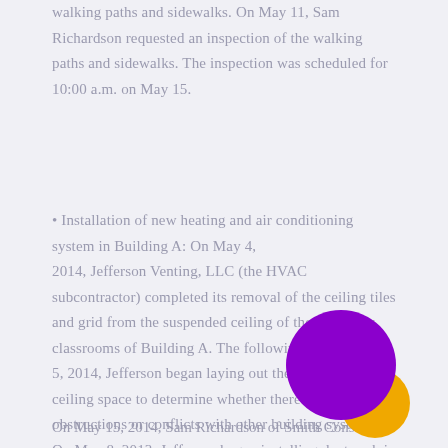walking paths and sidewalks. On May 11, Sam Richardson requested an inspection of the walking paths and sidewalks. The inspection was scheduled for 10:00 a.m. on May 15.
• Installation of new heating and air conditioning system in Building A: On May 4, 2014, Jefferson Venting, LLC (the HVAC subcontractor) completed its removal of the ceiling tiles and grid from the suspended ceiling of the first floor classrooms of Building A. The following day, on May 5, 2014, Jefferson began laying out the ductwork in the ceiling space to determine whether there were any obstructions or conflicts with other building systems. On May 8, 2013, Jefferson began installing ductwork in Building A. From May 8 through May 14, Jefferson installed ductwork in Classrooms 3-A, 3-B, 3-C, 3-D, 5-A, and 5-B.
On May 15, 2014, Sam Richardson of Smith Constructi…